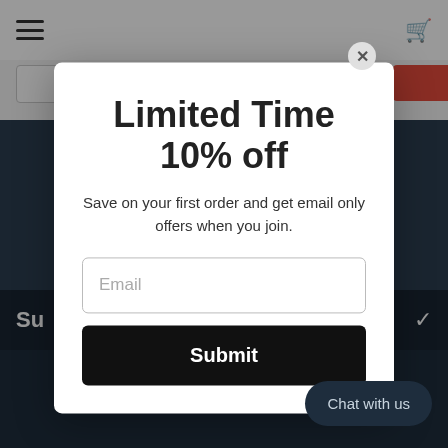Limited Time
10% off
Save on your first order and get email only offers when you join.
[Figure (screenshot): Email input field with placeholder text 'Email']
[Figure (screenshot): Black submit button with white bold text 'Submit']
Chat with us